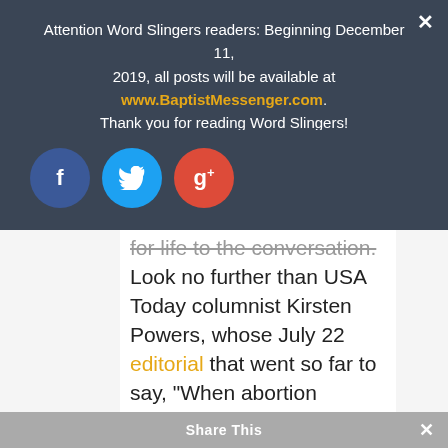Attention Word Slingers readers: Beginning December 11, 2019, all posts will be available at www.BaptistMessenger.com. Thank you for reading Word Slingers!
[Figure (other): Social media share buttons: Facebook (blue circle, 'f'), Twitter (light blue circle, bird icon), Google+ (red circle, 'g+')]
for life to the conversation. Look no further than USA Today columnist Kirsten Powers, whose July 22 editorial that went so far to say, "When abortion doctors are elevated to gods who may not be questioned or held accountable, society has officially gone off the rails."
Share This